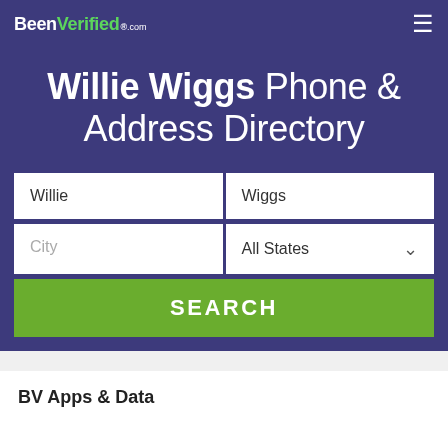BeenVerified.com
Willie Wiggs Phone & Address Directory
[Figure (screenshot): Search form with fields: Willie, Wiggs, City, All States dropdown, and a SEARCH button]
BV Apps & Data